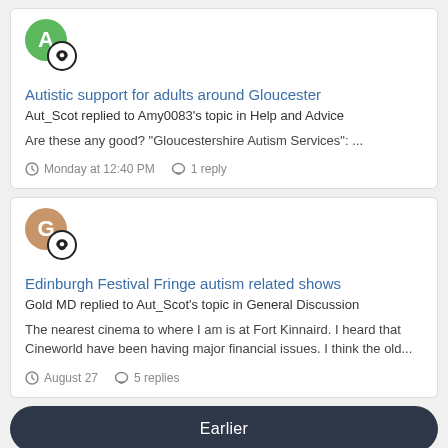[Figure (other): User avatar: green circle with letter A, with a speech bubble badge]
Autistic support for adults around Gloucester
Aut_Scot replied to Amy0083's topic in Help and Advice
Are these any good? "Gloucestershire Autism Services": ...
Monday at 12:40 PM   1 reply
[Figure (other): User avatar: tan/brown circle with letter G, with a speech bubble badge]
Edinburgh Festival Fringe autism related shows
Gold MD replied to Aut_Scot's topic in General Discussion
The nearest cinema to where I am is at Fort Kinnaird. I heard that Cineworld have been having major financial issues. I think the old...
August 27   5 replies
Earlier
[Figure (other): Partial avatar at bottom: orange/red circle, partially visible]